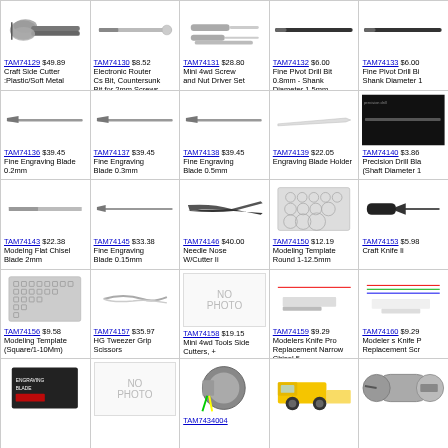[Figure (photo): Craft side cutter pliers]
TAM74129 $49.89 Craft Side Cutter :Plastic/Soft Metal
[Figure (photo): Electronic router bit]
TAM74130 $8.52 Electronic Router Cs Bit, Countersunk Bit for 2mm Screws
[Figure (photo): Mini 4wd screw and nut driver set]
TAM74131 $28.80 Mini 4wd Screw and Nut Driver Set
[Figure (photo): Fine pivot drill bit]
TAM74132 $6.00 Fine Pivot Drill Bit 0.8mm - Shank Diameter 1.5mm
[Figure (photo): Fine pivot drill bit]
TAM74133 $6.00 Fine Pivot Drill Bit Shank Diameter 1
[Figure (photo): Fine engraving blade 0.2mm]
TAM74136 $39.45 Fine Engraving Blade 0.2mm
[Figure (photo): Fine engraving blade 0.3mm]
TAM74137 $39.45 Fine Engraving Blade 0.3mm
[Figure (photo): Fine engraving blade 0.5mm]
TAM74138 $39.45 Fine Engraving Blade 0.5mm
[Figure (photo): Engraving blade holder]
TAM74139 $22.05 Engraving Blade Holder
[Figure (photo): Precision drill blade]
TAM74140 $3.86 Precision Drill Bla (Shaft Diameter 1
[Figure (photo): Modeling flat chisel blade 2mm]
TAM74143 $22.38 Modelng Flat Chisel Blade 2mm
[Figure (photo): Fine engraving blade 0.15mm]
TAM74145 $33.38 Fine Engraving Blade 0.15mm
[Figure (photo): Needle nose pliers with cutter]
TAM74146 $40.00 Needle Nose W/Cutter Ii
[Figure (photo): Modeling template round 1-12.5mm]
TAM74150 $12.19 Modeling Template Round 1-12.5mm
[Figure (photo): Craft knife]
TAM74153 $5.98 Craft Knife Ii
[Figure (photo): Modeling template square/1-10mm]
TAM74156 $9.58 Modeling Template (Square/1-10Mm)
[Figure (photo): HG Tweezer grip scissors]
TAM74157 $35.97 HG Tweezer Grip Scissors
[Figure (other): No photo available]
TAM74158 $19.15 Mini 4wd Tools Side Cutters, + Screwdriver
[Figure (photo): Modelers knife pro replacement narrow chisel]
TAM74159 $9.29 Modelers Knife Pro Replacement Narrow Chisel 5
[Figure (photo): Modeler s knife replacement]
TAM74160 $9.29 Modeler s Knife P Replacement Scr
[Figure (photo): Engraving blade package]
[Figure (other): No photo available]
[Figure (photo): Motor TAM7434004]
TAM7434004
[Figure (photo): Toy dump truck]
[Figure (photo): Motor]